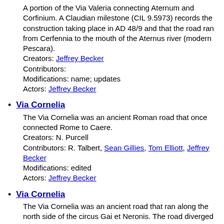A portion of the Via Valeria connecting Aternum and Corfinium. A Claudian milestone (CIL 9.5973) records the construction taking place in AD 48/9 and that the road ran from Cerfennia to the mouth of the Aternus river (modern Pescara). Creators: Jeffrey Becker Contributors: Modifications: name; updates Actors: Jeffrey Becker
Via Cornelia
The Via Cornelia was an ancient Roman road that once connected Rome to Caere. Creators: N. Purcell Contributors: R. Talbert, Sean Gillies, Tom Elliott, Jeffrey Becker Modifications: edited Actors: Jeffrey Becker
Via Cornelia
The Via Cornelia was an ancient road that ran along the north side of the circus Gai et Neronis. The road diverged from the Via Triumphalis west of the pons Neronianus, near a large tomb known as the Meta Romuli. Creators: L. Quilici, S. Quilici Gigli